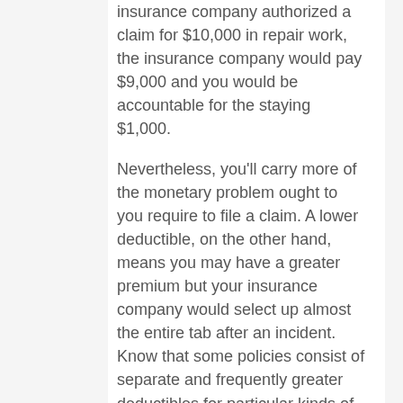insurance company authorized a claim for $10,000 in repair work, the insurance company would pay $9,000 and you would be accountable for the staying $1,000.
Nevertheless, you'll carry more of the monetary problem ought to you require to file a claim. A lower deductible, on the other hand, means you may have a greater premium but your insurance company would select up almost the entire tab after an incident. Know that some policies consist of separate and frequently greater deductibles for particular kinds of claims, such as damage from wind, hail, cyclone or earthquake.